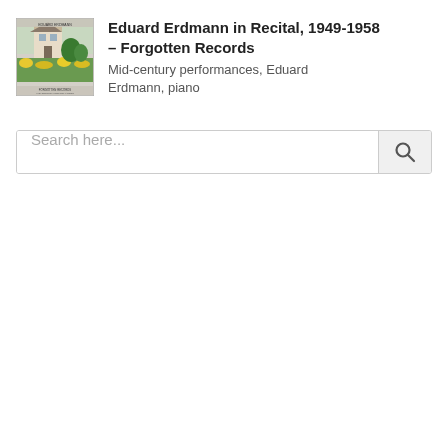[Figure (photo): Album cover thumbnail for Eduard Erdmann in Recital, 1949-1958. Shows a countryside scene with a building and yellow flowers, green foliage, with small text at the top and bottom of the cover.]
Eduard Erdmann in Recital, 1949-1958 – Forgotten Records
Mid-century performances, Eduard Erdmann, piano
Search here...